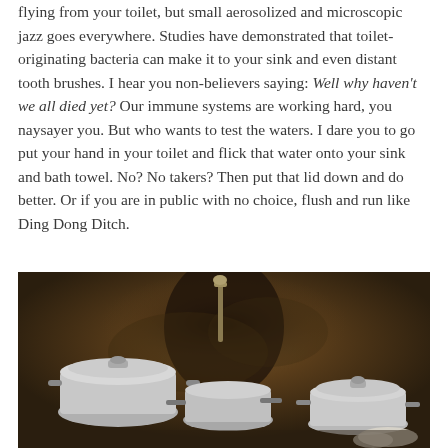flying from your toilet, but small aerosolized and microscopic jazz goes everywhere. Studies have demonstrated that toilet-originating bacteria can make it to your sink and even distant tooth brushes. I hear you non-believers saying: Well why haven't we all died yet? Our immune systems are working hard, you naysayer you. But who wants to test the waters. I dare you to go put your hand in your toilet and flick that water onto your sink and bath towel. No? No takers? Then put that lid down and do better. Or if you are in public with no choice, flush and run like Ding Dong Ditch.
[Figure (photo): A photograph of several aluminum cooking pots and pans on a surface, with a dark stained wall behind them and what appears to be a faucet or tap in the center background.]